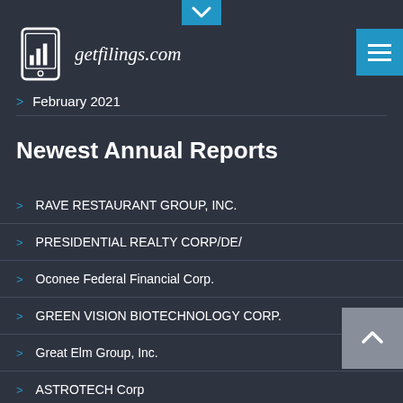[Figure (logo): getfilings.com logo with mobile phone icon showing bar chart]
February 2021
Newest Annual Reports
RAVE RESTAURANT GROUP, INC.
PRESIDENTIAL REALTY CORP/DE/
Oconee Federal Financial Corp.
GREEN VISION BIOTECHNOLOGY CORP.
Great Elm Group, Inc.
ASTROTECH Corp